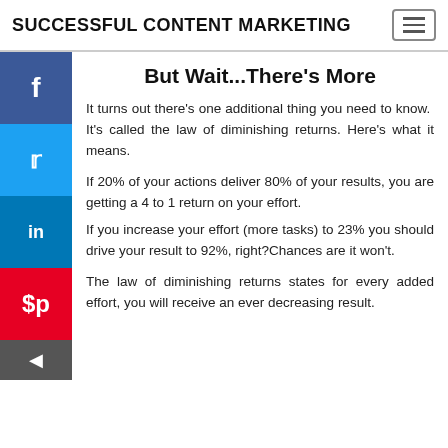SUCCESSFUL CONTENT MARKETING
But Wait...There's More
It turns out there's one additional thing you need to know. It's called the law of diminishing returns. Here's what it means.
If 20% of your actions deliver 80% of your results, you are getting a 4 to 1 return on your effort.
If you increase your effort (more tasks) to 23% you should drive your result to 92%, right?Chances are it won't.
The law of diminishing returns states for every added effort, you will receive an ever decreasing result.